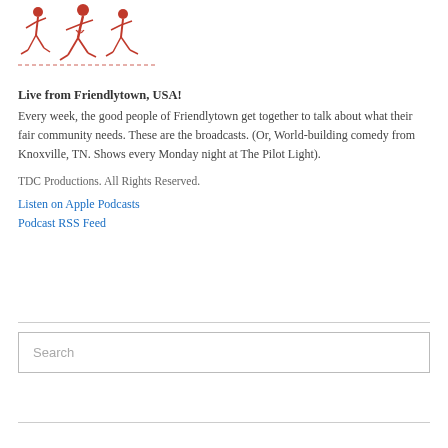[Figure (illustration): Retro red illustration of three people running together, vintage style]
Live from Friendlytown, USA!
Every week, the good people of Friendlytown get together to talk about what their fair community needs. These are the broadcasts. (Or, World-building comedy from Knoxville, TN. Shows every Monday night at The Pilot Light).
TDC Productions. All Rights Reserved.
Listen on Apple Podcasts
Podcast RSS Feed